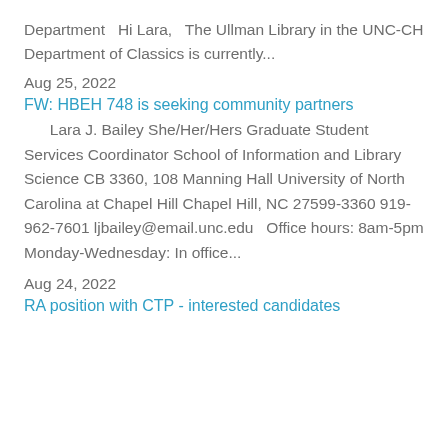Department   Hi Lara,   The Ullman Library in the UNC-CH Department of Classics is currently...
Aug 25, 2022
FW: HBEH 748 is seeking community partners
Lara J. Bailey She/Her/Hers Graduate Student Services Coordinator School of Information and Library Science CB 3360, 108 Manning Hall University of North Carolina at Chapel Hill Chapel Hill, NC 27599-3360 919-962-7601 ljbailey@email.unc.edu   Office hours: 8am-5pm Monday-Wednesday: In office...
Aug 24, 2022
RA position with CTP - interested candidates